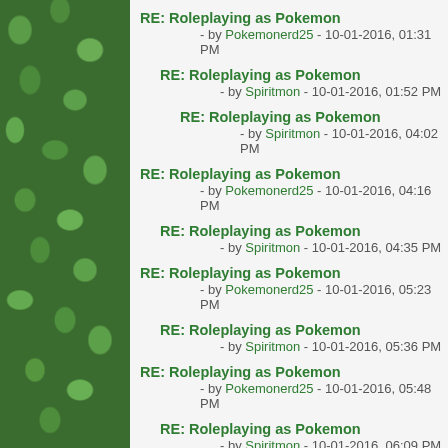RE: Roleplaying as Pokemon - by Pokemonerd25 - 10-01-2016, 01:31 PM
RE: Roleplaying as Pokemon - by Spiritmon - 10-01-2016, 01:52 PM
RE: Roleplaying as Pokemon - by Spiritmon - 10-01-2016, 04:02 PM
RE: Roleplaying as Pokemon - by Pokemonerd25 - 10-01-2016, 04:16 PM
RE: Roleplaying as Pokemon - by Spiritmon - 10-01-2016, 04:35 PM
RE: Roleplaying as Pokemon - by Pokemonerd25 - 10-01-2016, 05:23 PM
RE: Roleplaying as Pokemon - by Spiritmon - 10-01-2016, 05:36 PM
RE: Roleplaying as Pokemon - by Pokemonerd25 - 10-01-2016, 05:48 PM
RE: Roleplaying as Pokemon - by Spiritmon - 10-01-2016, 06:09 PM
RE: Roleplaying as Pokemon - by Pokemonerd25 - 10-01-2016, 06:20 PM
RE: Roleplaying as Pokemon - by Spiritmon - 10-01-2016, 06:26 PM
RE: Roleplaying as Pokemon - by Pokemonerd25 - 10-01-2016, 06:36 PM
RE: Roleplaying as Pokemon - by Spiritmon - 10-01-2016, 06:40 PM
RE: Roleplaying as Pokemon